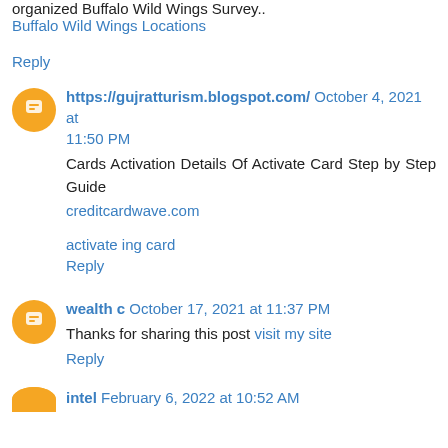organized Buffalo Wild Wings Survey..
Buffalo Wild Wings Locations
Reply
https://gujratturism.blogspot.com/ October 4, 2021 at 11:50 PM
Cards Activation Details Of Activate Card Step by Step Guide
creditcardwave.com
activate ing card
Reply
wealth c October 17, 2021 at 11:37 PM
Thanks for sharing this post visit my site
Reply
intel February 6, 2022 at 10:52 AM